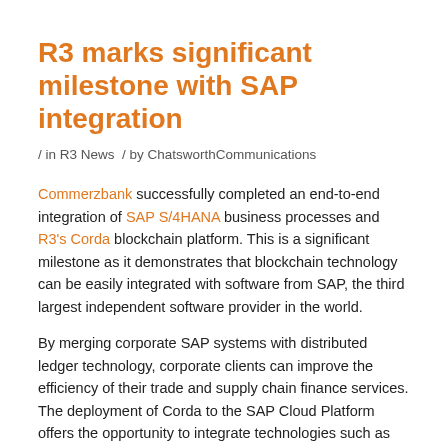R3 marks significant milestone with SAP integration
/ in R3 News / by ChatsworthCommunications
Commerzbank successfully completed an end-to-end integration of SAP S/4HANA business processes and R3’s Corda blockchain platform. This is a significant milestone as it demonstrates that blockchain technology can be easily integrated with software from SAP, the third largest independent software provider in the world.
By merging corporate SAP systems with distributed ledger technology, corporate clients can improve the efficiency of their trade and supply chain finance services. The deployment of Corda to the SAP Cloud Platform offers the opportunity to integrate technologies such as API Management, Machine Learning and Analytics.
Such an approach enables corporations to operate on a highly distributed but permission based and secure platform